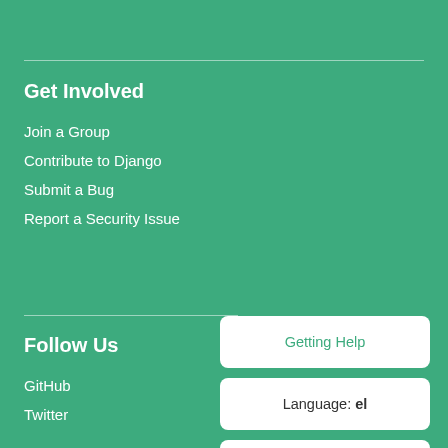Get Involved
Join a Group
Contribute to Django
Submit a Bug
Report a Security Issue
Follow Us
GitHub
Twitter
Getting Help
Language: el
Documentation version: 2.2